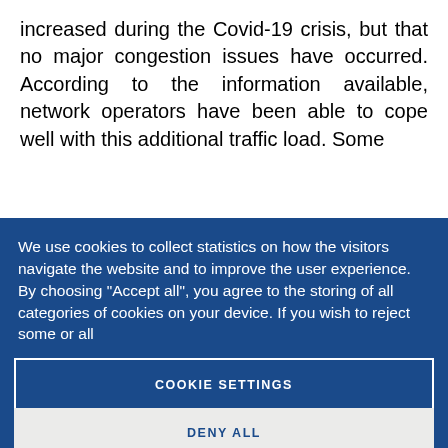increased during the Covid-19 crisis, but that no major congestion issues have occurred. According to the information available, network operators have been able to cope well with this additional traffic load. Some
We use cookies to collect statistics on how the visitors navigate the website and to improve the user experience. By choosing "Accept all", you agree to the storing of all categories of cookies on your device. If you wish to reject some or all
COOKIE SETTINGS
DENY ALL
ACCEPT ALL